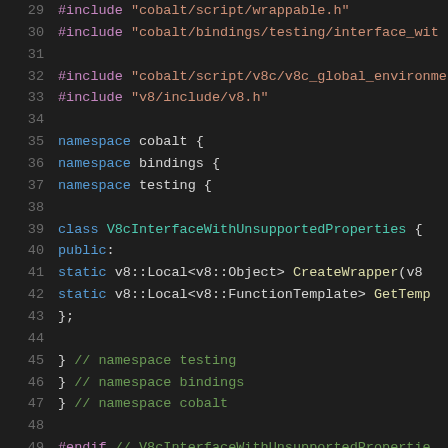[Figure (screenshot): Source code snippet showing C++ code with syntax highlighting on dark background. Lines 29-49 are shown. The code includes #include directives, namespace declarations (cobalt, bindings, testing), a class definition V8cInterfaceWithUnsupportedProperties with public static methods CreateWrapper and GetTemp, closing braces with namespace comments, and #endif directive.]